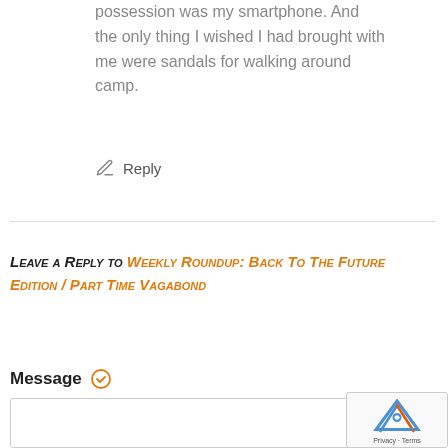possession was my smartphone. And the only thing I wished I had brought with me were sandals for walking around camp.
✏ Reply
Leave a Reply to Weekly Roundup: Back To The Future Edition / Part Time Vagabond
Message ✓
[Figure (other): Empty message text area input box]
[Figure (logo): Google reCAPTCHA badge with logo and Privacy/Terms links]